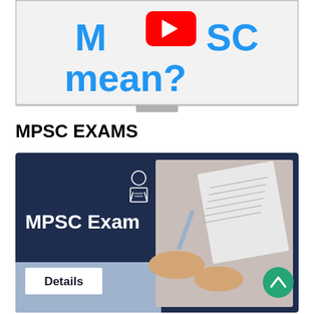[Figure (screenshot): Whiteboard thumbnail image with blue bold text 'MPSC mean?' and a YouTube play button icon in the center, on a white board with grey stand]
MPSC EXAMS
[Figure (infographic): Dark navy blue banner image for MPSC Exam Details, with a person/student icon, bold white text 'MPSC Exam', a 'Details' button in white box, and a photo of hands signing a document on the right side, plus green scroll-up button]